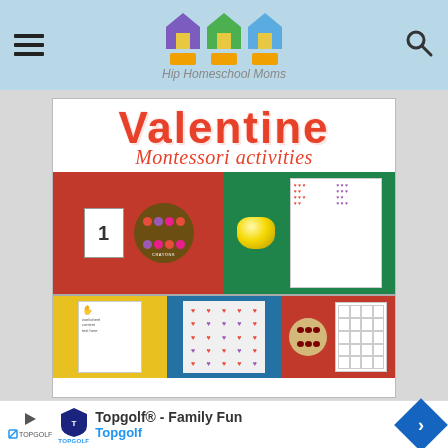Hip Homeschool Moms
[Figure (photo): Valentine Montessori activities promotional image showing red and green trays with heart-shaped buttons, worksheets, and counting activities]
Topgolf® - Family Fun
Topgolf